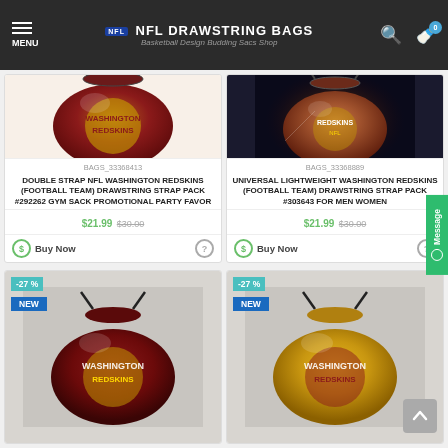NFL DRAWSTRING BAGS - Basketball Design Budding Sacs Shop
BAGS_33368413
DOUBLE STRAP NFL WASHINGTON REDSKINS (FOOTBALL TEAM) DRAWSTRING STRAP PACK #292262 GYM SACK PROMOTIONAL PARTY FAVOR
$21.99  $30.00
Buy Now
BAGS_33368889
UNIVERSAL LIGHTWEIGHT WASHINGTON REDSKINS (FOOTBALL TEAM) DRAWSTRING STRAP PACK #303643 FOR MEN WOMEN
$21.99  $30.00
Buy Now
[Figure (photo): Two drawstring bags with NFL Washington Redskins design in bottom row, with -27% and NEW badges]
[Figure (photo): Two drawstring bags with NFL Washington Redskins design in bottom row, with -27% and NEW badges]